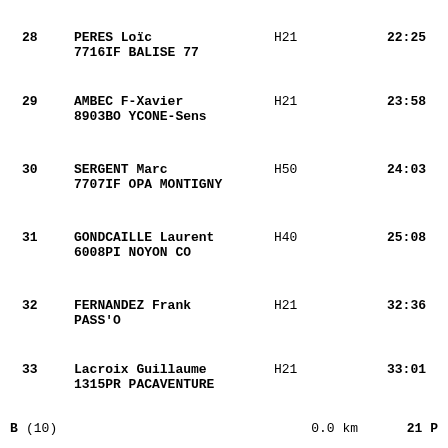28  PERES Loïc  H21  22:25
7716IF BALISE 77
29  AMBEC F-Xavier  H21  23:58
8903BO YCONE-Sens
30  SERGENT Marc  H50  24:03
7707IF OPA MONTIGNY
31  GONDCAILLE Laurent  H40  25:08
6008PI NOYON CO
32  FERNANDEZ Frank  H21  32:36
PASS'O
33  Lacroix Guillaume  H21  33:01
1315PR PACAVENTURE
B (10)  0.0 km  21 P